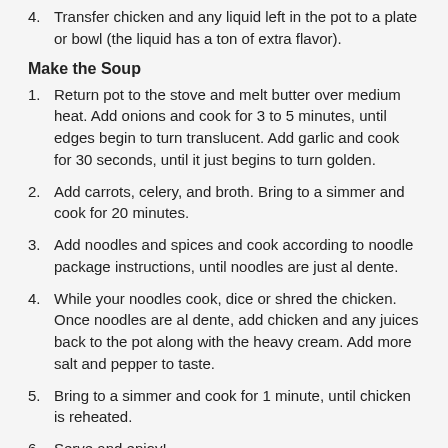4. Transfer chicken and any liquid left in the pot to a plate or bowl (the liquid has a ton of extra flavor).
Make the Soup
1. Return pot to the stove and melt butter over medium heat. Add onions and cook for 3 to 5 minutes, until edges begin to turn translucent. Add garlic and cook for 30 seconds, until it just begins to turn golden.
2. Add carrots, celery, and broth. Bring to a simmer and cook for 20 minutes.
3. Add noodles and spices and cook according to noodle package instructions, until noodles are just al dente.
4. While your noodles cook, dice or shred the chicken. Once noodles are al dente, add chicken and any juices back to the pot along with the heavy cream. Add more salt and pepper to taste.
5. Bring to a simmer and cook for 1 minute, until chicken is reheated.
6. Serve and enjoy!
Notes